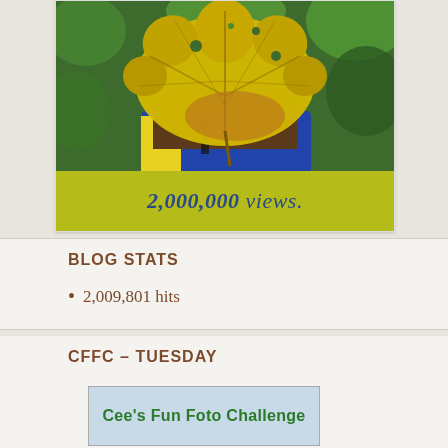[Figure (photo): Person holding a large yellow-orange autumn maple leaf in front of their face, wearing a blue jacket with yellow accents, green foliage background. Below the photo is an olive/yellow-green banner with text '2,000,000 views.']
BLOG STATS
2,009,801 hits
CFFC – TUESDAY
[Figure (illustration): Banner/logo image with text 'Cee's Fun Foto Challenge' in green lettering on a light blue/sky background]